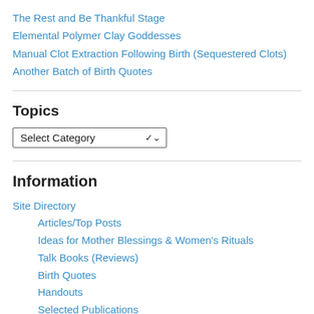The Rest and Be Thankful Stage
Elemental Polymer Clay Goddesses
Manual Clot Extraction Following Birth (Sequestered Clots)
Another Batch of Birth Quotes
Topics
[Figure (screenshot): Dropdown select box with label 'Select Category' and a chevron arrow]
Information
Site Directory
Articles/Top Posts
Ideas for Mother Blessings & Women's Rituals
Talk Books (Reviews)
Birth Quotes
Handouts
Selected Publications